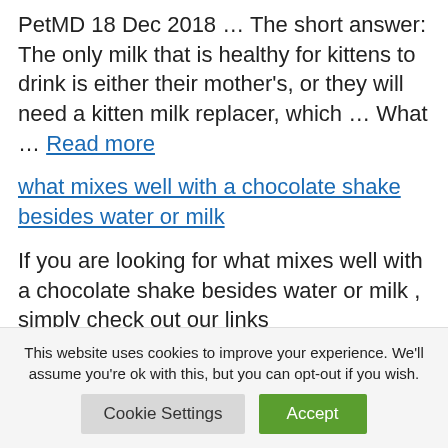PetMD 18 Dec 2018 ... The short answer: The only milk that is healthy for kittens to drink is either their mother's, or they will need a kitten milk replacer, which … What … Read more
what mixes well with a chocolate shake besides water or milk
If you are looking for what mixes well with a chocolate shake besides water or milk , simply check out our links
This website uses cookies to improve your experience. We'll assume you're ok with this, but you can opt-out if you wish.